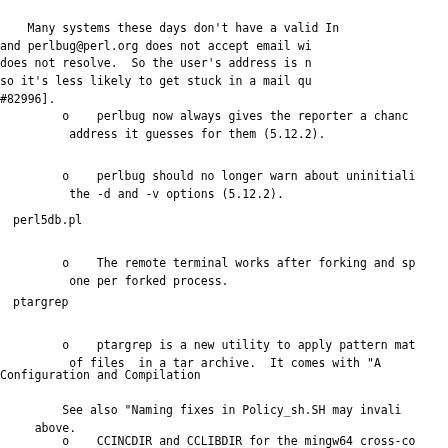Many systems these days don't have a valid In
and perlbug@perl.org does not accept email wi
does not resolve.  So the user's address is n
so it's less likely to get stuck in a mail qu
#82996].
o    perlbug now always gives the reporter a chanc
     address it guesses for them (5.12.2).
o    perlbug should no longer warn about uninitiali
     the -d and -v options (5.12.2).
perl5db.pl
o    The remote terminal works after forking and sp
     one per forked process.
ptargrep
o    ptargrep is a new utility to apply pattern mat
     of files  in a tar archive.  It comes with "A
Configuration and Compilation
See also "Naming fixes in Policy_sh.SH may invali
     above.
o    CCINCDIR and CCLIBDIR for the mingw64 cross-co
     correctly under $(CCHOME)\mingw\include and \
     immediately below $(CCHOME).